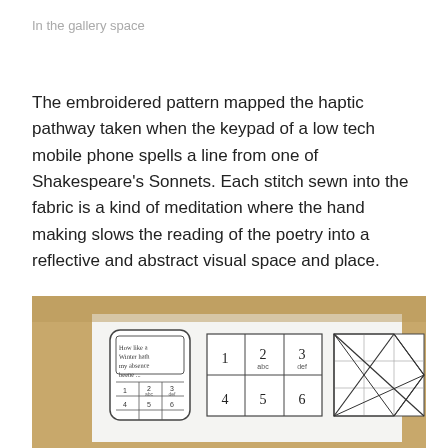In the gallery space
The embroidered pattern mapped the haptic pathway taken when the keypad of a low tech mobile phone spells a line from one of Shakespeare's Sonnets. Each stitch sewn into the fabric is a kind of meditation where the hand making slows the reading of the poetry into a reflective and abstract visual space and place.
[Figure (photo): Photograph of a board with drawings: a mobile phone keypad sketch on the left with text 'How like a Winter hath my absence beene...' and a standard phone keypad layout (1, 2 abc, 3 def, 4, 5, 6...) in the middle, and a geometric diamond/kite pattern diagram on the right, all on white paper against a tan/brown cork board background.]